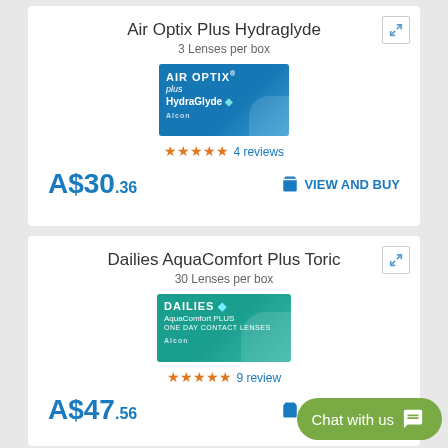Air Optix Plus Hydraglyde
3 Lenses per box
[Figure (photo): Air Optix Plus HydraGlyde contact lens box - blue gradient packaging]
★★★★★ 4 reviews
A$30.36   VIEW AND BUY
Dailies AquaComfort Plus Toric
30 Lenses per box
[Figure (photo): Dailies AquaComfort Plus Toric contact lens box - teal/green gradient packaging]
★★★★★ 9 reviews
A$47.56   VIEW AND BUY